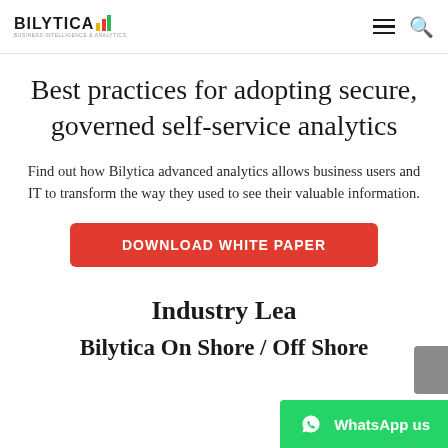BILYTICA [logo with bar chart icon]
Best practices for adopting secure, governed self-service analytics
Find out how Bilytica advanced analytics allows business users and IT to transform the way they used to see their valuable information.
[Figure (other): Red rectangular button with white bold uppercase text: DOWNLOAD WHITE PAPER]
Industry Lea... Bilytica On Shore / Off Shore
[Figure (other): Green WhatsApp floating button with WhatsApp icon and text: WhatsApp us]